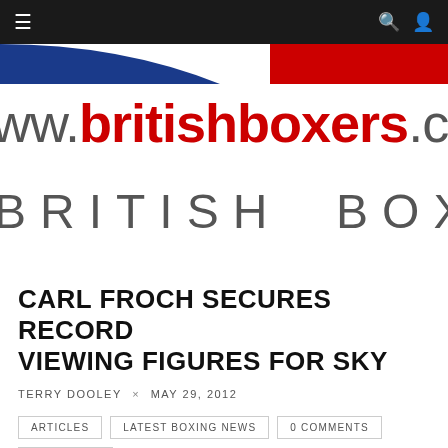Navigation bar with menu, search, and user icons
[Figure (logo): British Boxers website logo showing www.britishboxers.co. URL in red and grey, with BRITISH BOXING tagline below on white background with blue and red banner strip]
CARL FROCH SECURES RECORD VIEWING FIGURES FOR SKY
TERRY DOOLEY × MAY 29, 2012
ARTICLES
LATEST BOXING NEWS
0 COMMENTS
3 MIN READ